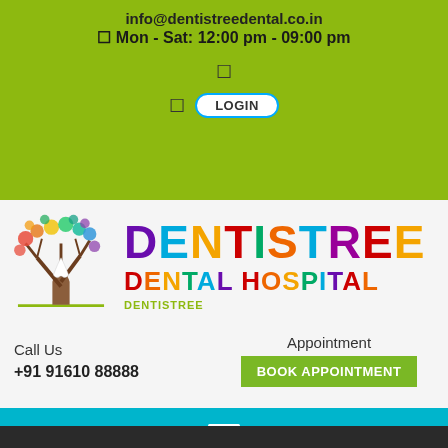info@dentistreedental.co.in
Mon - Sat: 12:00 pm - 09:00 pm
[Figure (logo): Dentistree Dental Hospital logo with colorful tree and tooth design]
Call Us
+91 91610 88888
Appointment
BOOK APPOINTMENT